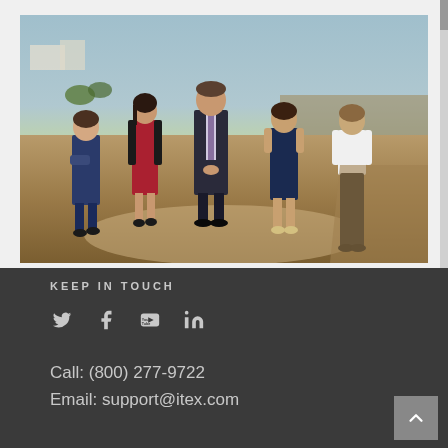[Figure (photo): Group photo of 5 business professionals (4 women, 1 man) standing on a coastal cliff with the ocean and rocky terrain in the background. The man in the center wears a dark suit with a light purple tie. Women are dressed in business and business-casual attire.]
KEEP IN TOUCH
[Figure (infographic): Social media icons: Twitter (bird), Facebook (f), YouTube (play button), LinkedIn (in)]
Call: (800) 277-9722
Email: support@itex.com